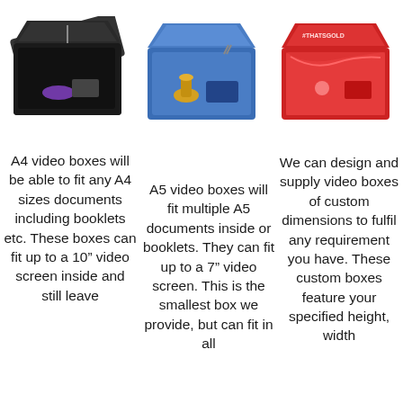[Figure (photo): Black open video box with items inside, viewed from above at an angle]
[Figure (photo): Blue open video box with brass bell and items inside, viewed from above at an angle]
[Figure (photo): Red open video box with red tissue paper inside, branded THATSGOLD, viewed from above at an angle]
A4 video boxes will be able to fit any A4 sizes documents including booklets etc. These boxes can fit up to a 10” video screen inside and still leave
A5 video boxes will fit multiple A5 documents inside or booklets. They can fit up to a 7” video screen. This is the smallest box we provide, but can fit in all
We can design and supply video boxes of custom dimensions to fulfil any requirement you have. These custom boxes feature your specified height, width